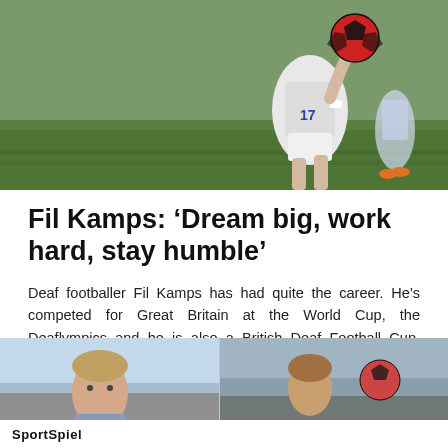[Figure (photo): A deaf footballer in a white jersey (number 17) competing on a green grass field, reaching for a red and black soccer ball overhead]
Fil Kamps: ‘Dream big, work hard, stay humble’
Deaf footballer Fil Kamps has had quite the career. He’s competed for Great Britain at the World Cup, the Deaflympics and he is also a British Deaf Football Cup, English …
Continue Reading
[Figure (photo): Two people outdoors with a sports ball, bottom section of the webpage]
SportSpiel